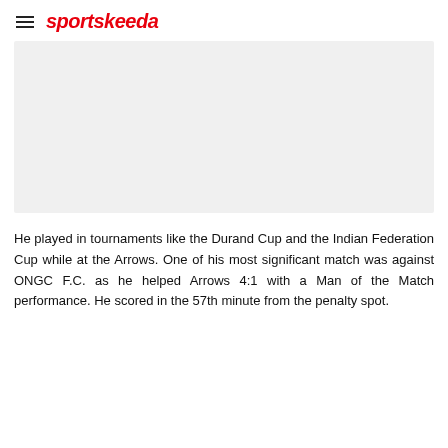sportskeeda
[Figure (photo): Image placeholder area with light gray background]
He played in tournaments like the Durand Cup and the Indian Federation Cup while at the Arrows. One of his most significant match was against ONGC F.C. as he helped Arrows 4:1 with a Man of the Match performance. He scored in the 57th minute from the penalty spot.